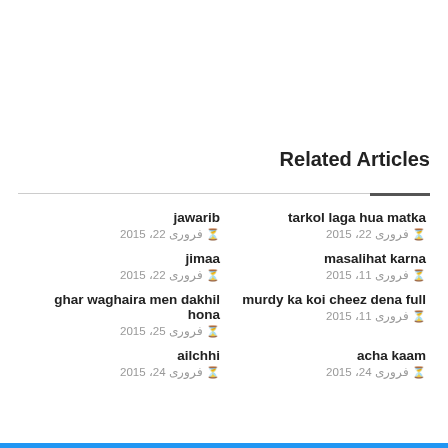Related Articles
tarkol laga hua matka
⊙ فروری 22، 2015
jawarib
⊙ فروری 22، 2015
masalihat karna
⊙ فروری 11، 2015
jimaa
⊙ فروری 22، 2015
murdy ka koi cheez dena full
⊙ فروری 11، 2015
ghar waghaira men dakhil hona
⊙ فروری 25، 2015
acha kaam
⊙ فروری 24، 2015
ailchhi
⊙ فروری 24، 2015